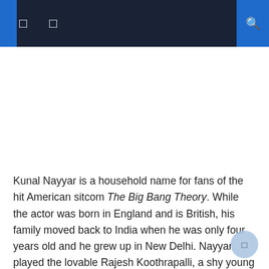Kunal Nayyar is a household name for fans of the hit American sitcom The Big Bang Theory. While the actor was born in England and is British, his family moved back to India when he was only four years old and he grew up in New Delhi. Nayyar played the lovable Rajesh Koothrapalli, a shy young astrophysicist suffering from the inability to speak to women and who managed to overcome the problem, although unfortunately he was still celibate by the end of the series.